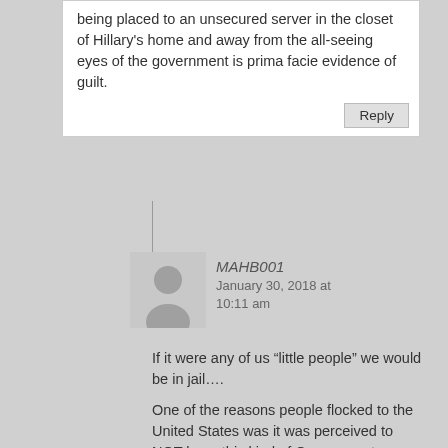being placed to an unsecured server in the closet of Hillary's home and away from the all-seeing eyes of the government is prima facie evidence of guilt.
Reply
MAHB001
January 30, 2018 at 10:11 am
If it were any of us “little people” we would be in jail….
One of the reasons people flocked to the United States was it was perceived to NOT have this kind of Government. America was supposed to have equal justice under the law…
The sad thing is that this type of tyranny didn’t start